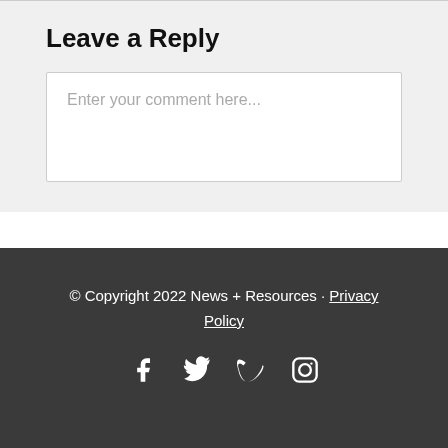Leave a Reply
Enter your comment here...
© Copyright 2022 News + Resources · Privacy Policy
[Figure (infographic): Social media icons: Facebook, Twitter, Vimeo, Instagram]